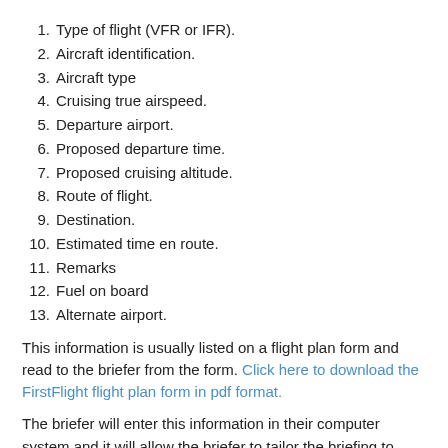1. Type of flight (VFR or IFR).
2. Aircraft identification.
3. Aircraft type
4. Cruising true airspeed.
5. Departure airport.
6. Proposed departure time.
7. Proposed cruising altitude.
8. Route of flight.
9. Destination.
10. Estimated time en route.
11. Remarks
12. Fuel on board
13. Alternate airport.
This information is usually listed on a flight plan form and read to the briefer from the form. Click here to download the FirstFlight flight plan form in pdf format.
The briefer will enter this information in their computer system and it will allow the briefer to tailor the briefing to your specific needs. Be ready for the briefer to immediately start the briefing and be prepared to take notes. To organize your notes, it's a good idea to use some kind of weather log. Click here to download the